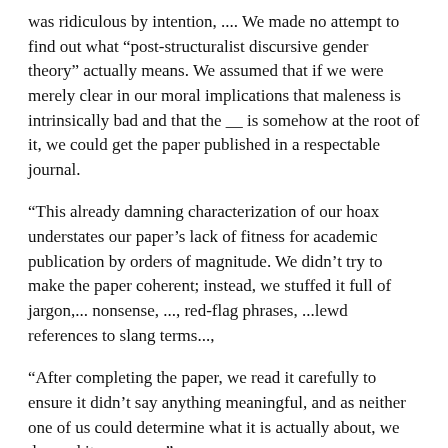was ridiculous by intention, .... We made no attempt to find out what “post-structuralist discursive gender theory” actually means. We assumed that if we were merely clear in our moral implications that maleness is intrinsically bad and that the __ is somehow at the root of it, we could get the paper published in a respectable journal.
“This already damning characterization of our hoax understates our paper’s lack of fitness for academic publication by orders of magnitude. We didn’t try to make the paper coherent; instead, we stuffed it full of jargon,... nonsense, ..., red-flag phrases, ...lewd references to slang terms...,
“After completing the paper, we read it carefully to ensure it didn’t say anything meaningful, and as neither one of us could determine what it is actually about, we deemed it a success.”
One just has to wonder how many in academia are concocting similar drivel paper after paper & lecture after